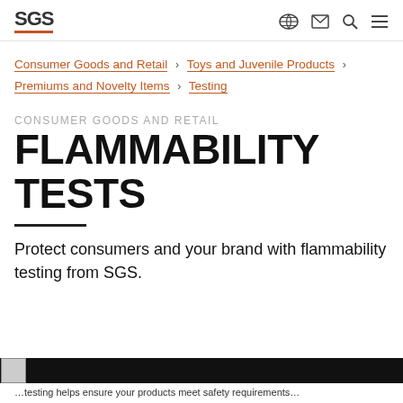SGS | Consumer Goods and Retail › Toys and Juvenile Products › Premiums and Novelty Items › Testing
CONSUMER GOODS AND RETAIL
FLAMMABILITY TESTS
Protect consumers and your brand with flammability testing from SGS.
[Figure (photo): Bottom image strip showing a dark background with a small preview image icon on the left]